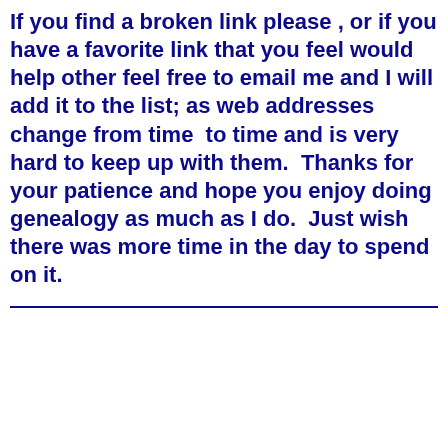If you find a broken link please , or if you have a favorite link that you feel would help other feel free to email me and I will add it to the list; as web addresses change from time  to time and is very hard to keep up with them.  Thanks for your patience and hope you enjoy doing genealogy as much as I do.  Just wish there was more time in the day to spend on it.